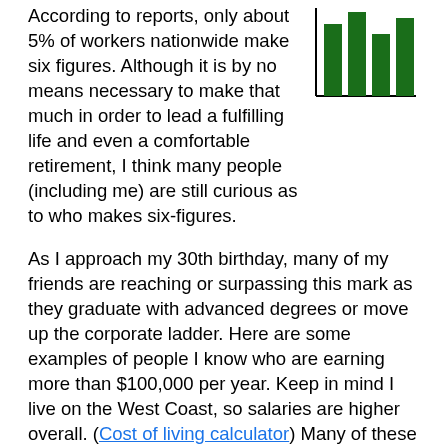According to reports, only about 5% of workers nationwide make six figures. Although it is by no means necessary to make that much in order to lead a fulfilling life and even a comfortable retirement, I think many people (including me) are still curious as to who makes six-figures.
[Figure (bar-chart): Bar chart with green vertical bars, partially visible at top-right of page]
As I approach my 30th birthday, many of my friends are reaching or surpassing this mark as they graduate with advanced degrees or move up the corporate ladder. Here are some examples of people I know who are earning more than $100,000 per year. Keep in mind I live on the West Coast, so salaries are higher overall. (Cost of living calculator) Many of these are expected, but some may surprise you.
Investment Banker – Education needed: Bachelor's in